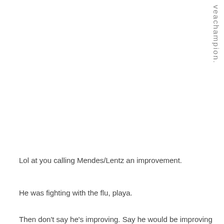veachampion.
Lol at you calling Mendes/Lentz an improvement.
He was fighting with the flu, playa.
Then don't say he's improving. Say he would be improving but he's sick